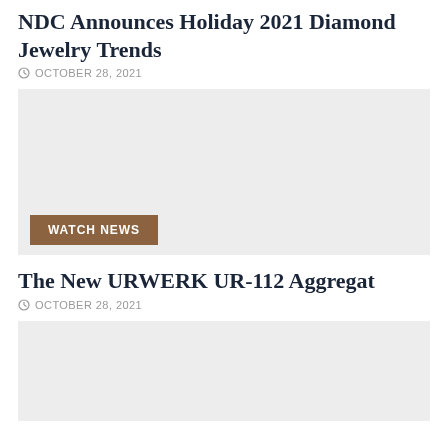NDC Announces Holiday 2021 Diamond Jewelry Trends
OCTOBER 28, 2021
[Figure (photo): Large gray placeholder image for NDC Diamond Jewelry article with WATCH NEWS button overlay]
The New URWERK UR-112 Aggregat
OCTOBER 28, 2021
[Figure (photo): Gray placeholder image for URWERK UR-112 Aggregat article (partially visible)]